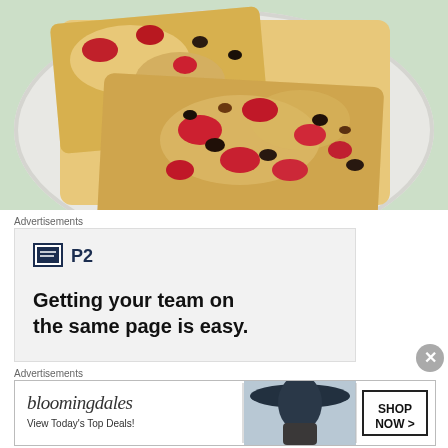[Figure (photo): Slices of fruit cake with red cherries and dark fruits on a white decorative plate, against a light green background]
Advertisements
[Figure (screenshot): Advertisement for P2 - Getting your team on the same page is easy. Shows P2 logo (a dark square with a document icon) and bold headline text.]
Advertisements
[Figure (screenshot): Bloomingdale's advertisement with stylized logo, 'View Today's Top Deals!' text, image of woman in hat, and 'SHOP NOW >' button]